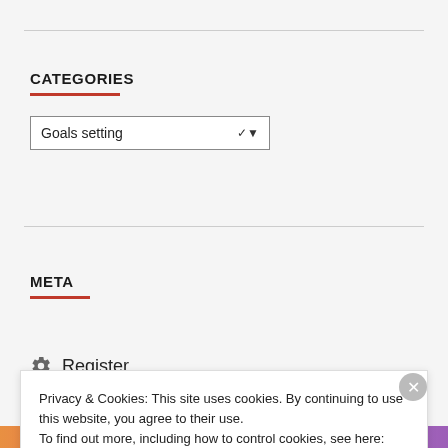CATEGORIES
[Figure (screenshot): Dropdown select box showing 'Goals setting' with a chevron arrow]
META
Register
Privacy & Cookies: This site uses cookies. By continuing to use this website, you agree to their use.
To find out more, including how to control cookies, see here: Cookie Policy
Close and accept